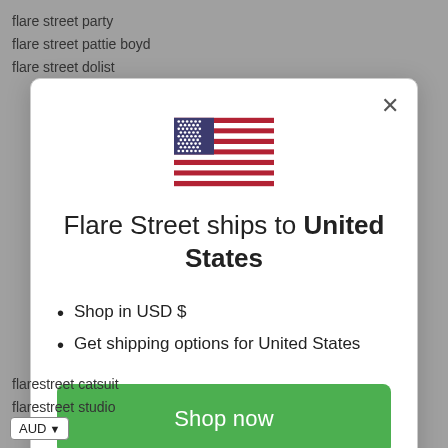flare street party
flare street pattie boyd
flare street dolist
[Figure (screenshot): Modal dialog on a website: US flag icon at top, title 'Flare Street ships to United States', bullet points 'Shop in USD $' and 'Get shipping options for United States', a green 'Shop now' button, and a 'Change shipping country' link. Close (X) button at top right.]
flarestreet catsuit
flarestreet studio
AUD ▾